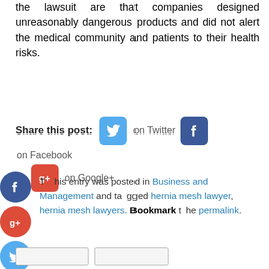the lawsuit are that companies designed unreasonably dangerous products and did not alert the medical community and patients to their health risks.
Share this post: on Twitter on Facebook on Google+
This entry was posted in Business and Management and tagged hernia mesh lawyer, hernia mesh lawyers. Bookmark the permalink.